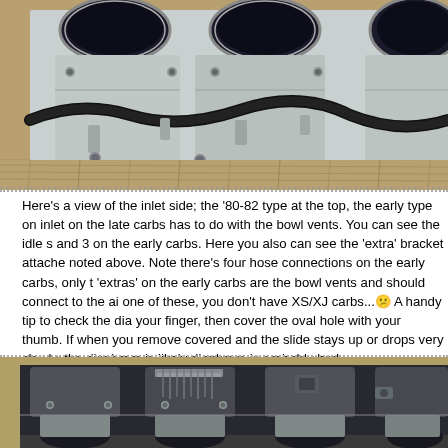[Figure (photo): Close-up inlet side view of carburetors showing the '80-82 type at top and early type below, with hose connections and bracket visible, placed on burlap surface]
Here's a view of the inlet side; the '80-82 type at the top, the early type on inlet on the late carbs has to do with the bowl vents. You can see the idle s and 3 on the early carbs. Here you also can see the 'extra' bracket attache noted above. Note there's four hose connections on the early carbs, only t 'extras' on the early carbs are the bowl vents and should connect to the ai one of these, you don't have XS/XJ carbs... A handy tip to check the dia your finger, then cover the oval hole with your thumb. If when you remove covered and the slide stays up or drops very slowly, the diaphram is likely diaphram is probably bad.
[Figure (photo): Close-up view of carburetors from another angle showing springs and internal components, placed on burlap surface]